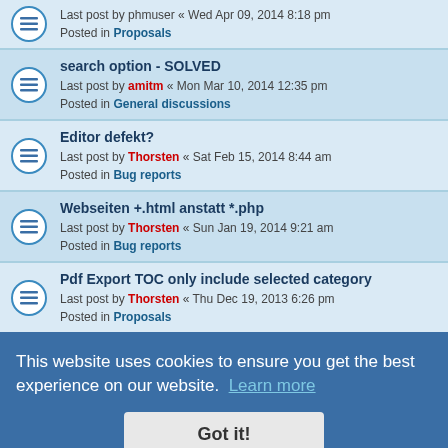Last post by phmuser « Wed Apr 09, 2014 8:18 pm
Posted in Proposals
search option - SOLVED
Last post by amitm « Mon Mar 10, 2014 12:35 pm
Posted in General discussions
Editor defekt?
Last post by Thorsten « Sat Feb 15, 2014 8:44 am
Posted in Bug reports
Webseiten +.html anstatt *.php
Last post by Thorsten « Sun Jan 19, 2014 9:21 am
Posted in Bug reports
Pdf Export TOC only include selected category
Last post by Thorsten « Thu Dec 19, 2013 6:26 pm
Posted in Proposals
Search found 299 matches
1 2 3 4 5 6 >
Jump to
Board index  |  Delete cookies  All times are UTC+01:00
This website uses cookies to ensure you get the best experience on our website. Learn more
Got it!
Powered by phpBB • Forum Software © phpBB Limited
Privacy | Terms